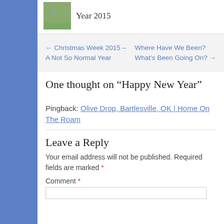[Figure (photo): Small thumbnail image of olive/globe decoration for Happy New Year 2015]
Year 2015
← Christmas Week 2015 – A Not So Normal Year
Where Have We Been? What's Been Going On? →
One thought on “Happy New Year”
Pingback: Olive Drop, Bartlesville, OK | Home On The Roam
Leave a Reply
Your email address will not be published. Required fields are marked *
Comment *